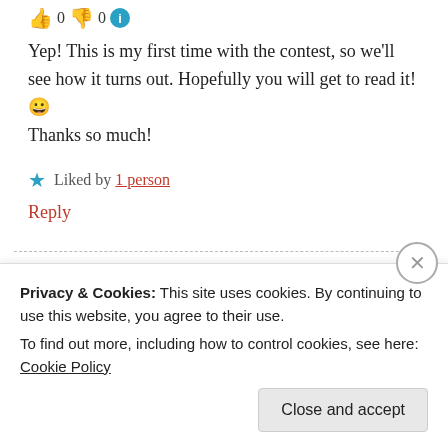👍 0 👎 0 ℹ
Yep! This is my first time with the contest, so we'll see how it turns out. Hopefully you will get to read it! 😀 Thanks so much!
★ Liked by 1 person
Reply
Pingback: A Much Needed Explanation // NaNoWriMo Week NONE | Short & Snappy
Privacy & Cookies: This site uses cookies. By continuing to use this website, you agree to their use. To find out more, including how to control cookies, see here: Cookie Policy
Close and accept